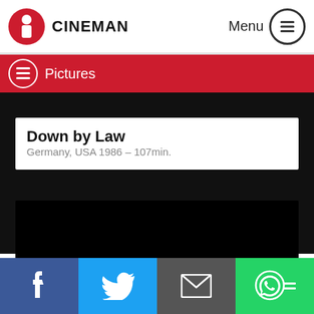CINEMAN  Menu
Pictures
Down by Law
Germany, USA 1986 – 107min.
[Figure (photo): Black image area for movie pictures]
Facebook | Twitter | Email | WhatsApp share buttons